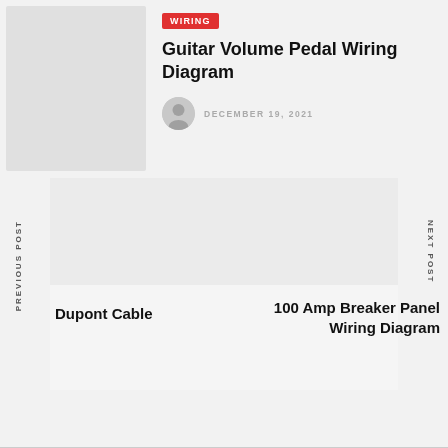WIRING
Guitar Volume Pedal Wiring Diagram
DECEMBER 19, 2021
PREVIOUS POST
NEXT POST
Dupont Cable
100 Amp Breaker Panel Wiring Diagram